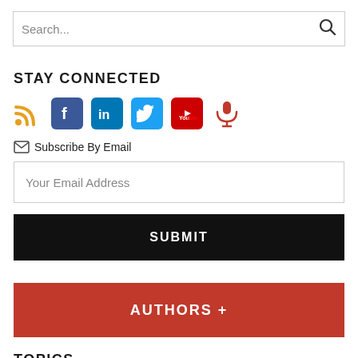Search...
STAY CONNECTED
[Figure (infographic): Social media icons row: RSS (orange), Facebook (blue box), LinkedIn (blue box), Twitter (light blue box), YouTube (red box), Microphone/podcast (red)]
Subscribe By Email
Your Email Address
SUBMIT
AUTHORS +
TOPICS